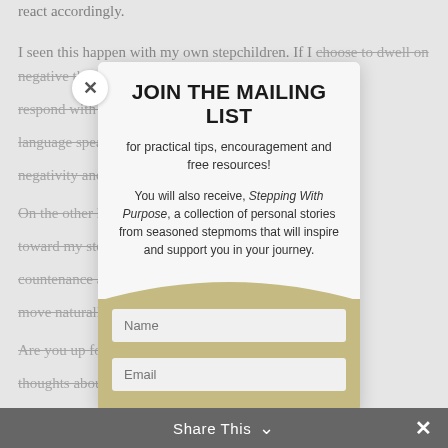react accordingly.
I seen this happen with my own stepchildren. If I choose to dwell on negative thoughts toward them, I respond with critical remarks. My spirit, my body language speaks volumes. They can sense my negativity and respond in anger or frustration.
On the other hand, when I direct my thoughts toward my stepchildren with love, it reflects in my countenance and my words. It's easy for them to move naturally toward a loving spirit.
Are you up for a challenge? Think only positive thoughts about your stepchildren and, anytime a too something negative creeps into your mind, turn it around and find a positive twist. See if it makes
JOIN THE MAILING LIST
for practical tips, encouragement and free resources!
You will also receive, Stepping With Purpose, a collection of personal stories from seasoned stepmoms that will inspire and support you in your journey.
Name
Email
Share This